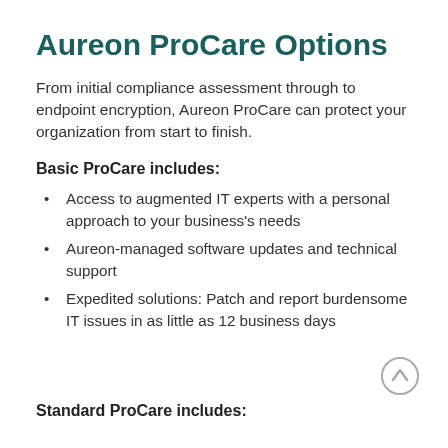Aureon ProCare Options
From initial compliance assessment through to endpoint encryption, Aureon ProCare can protect your organization from start to finish.
Basic ProCare includes:
Access to augmented IT experts with a personal approach to your business's needs
Aureon-managed software updates and technical support
Expedited solutions: Patch and report burdensome IT issues in as little as 12 business days
Standard ProCare includes: